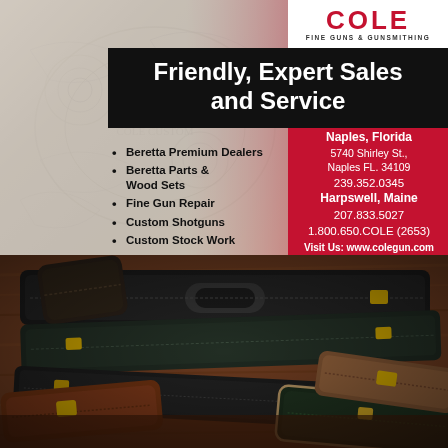[Figure (illustration): Cole Fine Guns & Gunsmithing advertisement. Top section shows decorative gun engraving background on left, red panel on right with Cole logo (white text on white background top right), black bar with headline 'Friendly, Expert Sales and Service', bullet list of services on left, and contact information on red right panel. Bottom section shows photograph of luxury gun cases on wooden surface.]
COLE
FINE GUNS & GUNSMITHING
Friendly, Expert Sales and Service
Beretta Premium Dealers
Beretta Parts & Wood Sets
Fine Gun Repair
Custom Shotguns
Custom Stock Work
Naples, Florida
5740 Shirley St.,
Naples FL. 34109
239.352.0345
Harpswell, Maine
207.833.5027
1.800.650.COLE (2653)
Visit Us: www.colegun.com